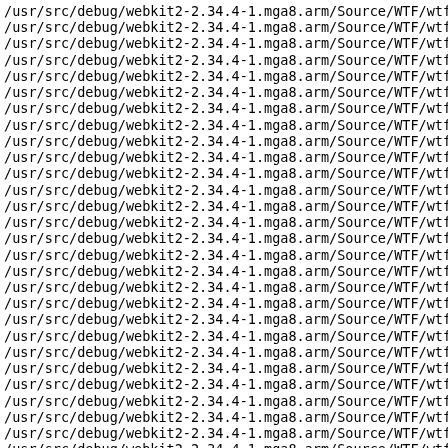A list of file paths: /usr/src/debug/webkit2-2.34.4-1.mga8.arm/Source/WTF/wtf/ (repeated lines, truncated on right side)